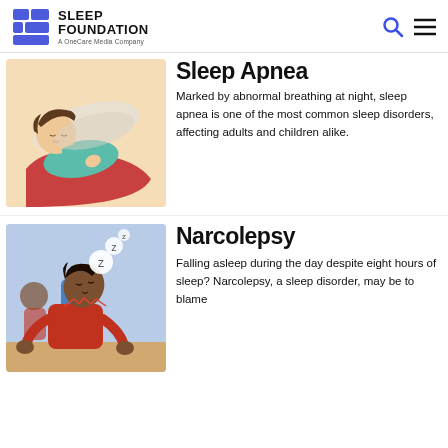Sleep Foundation – A OneCare Media Company
Sleep Apnea
[Figure (illustration): Illustration of a woman sleeping on her side with a pillow and red blanket on a light beige background]
Marked by abnormal breathing at night, sleep apnea is one of the most common sleep disorders, affecting adults and children alike.
Narcolepsy
[Figure (illustration): Illustration of a man in a red shirt falling asleep at a desk, head tilted back with sleep bubbles, on a light blue background]
Falling asleep during the day despite eight hours of sleep? Narcolepsy, a sleep disorder, may be to blame